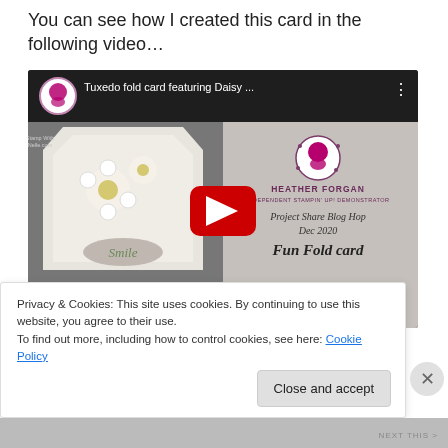You can see how I created this card in the following video…
[Figure (screenshot): YouTube video thumbnail showing a tuxedo fold card with daisy design. Title: 'Tuxedo fold card featuring Daisy …'. Features a card with flowers and 'Smile' label, and branding for Heather Forgan Independent Stampin' Up! Demonstrator, Project Share Blog Hop Dec 2020, Fun Fold card.]
Privacy & Cookies: This site uses cookies. By continuing to use this website, you agree to their use.
To find out more, including how to control cookies, see here: Cookie Policy